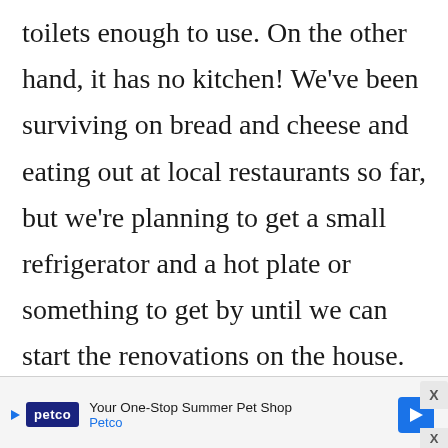toilets enough to use. On the other hand, it has no kitchen! We've been surviving on bread and cheese and eating out at local restaurants so far, but we're planning to get a small refrigerator and a hot plate or something to get by until we can start the renovations on the house. (We stupidly managed to forget that getting workers in is pretty much
[Figure (other): Petco advertisement banner: 'Your One-Stop Summer Pet Shop' with Petco logo and navigation arrow icon]